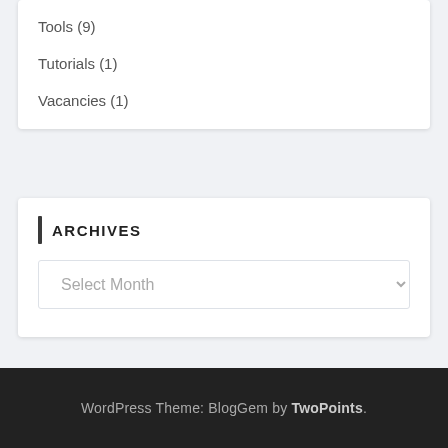Tools (9)
Tutorials (1)
Vacancies (1)
ARCHIVES
Select Month
WordPress Theme: BlogGem by TwoPoints.